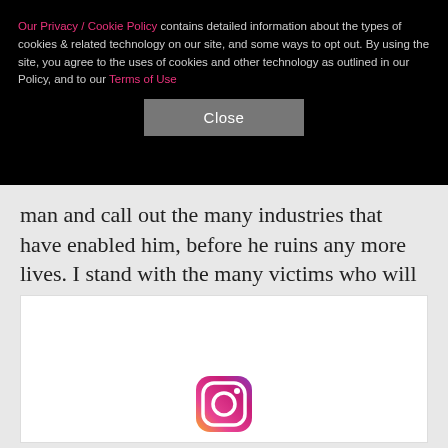Our Privacy / Cookie Policy contains detailed information about the types of cookies & related technology on our site, and some ways to opt out. By using the site, you agree to the uses of cookies and other technology as outlined in our Policy, and to our Terms of Use
Close
man and call out the many industries that have enabled him, before he ruins any more lives. I stand with the many victims who will no longer be silent."
[Figure (logo): Instagram logo icon (partial, bottom of page)]